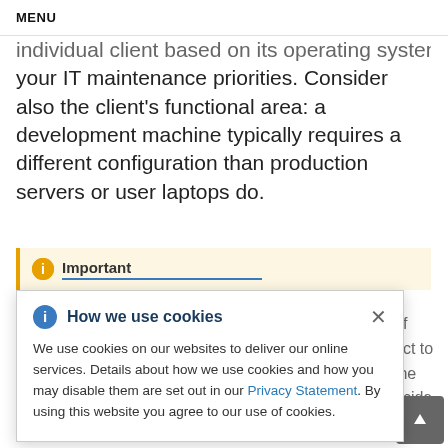MENU
individual client based on its operating system and your IT maintenance priorities. Consider also the client's functional area: a development machine typically requires a different configuration than production servers or user laptops do.
Important
How we use cookies

We use cookies on our websites to deliver our online services. Details about how we use cookies and how you may disable them are set out in our Privacy Statement. By using this website you agree to our use of cookies.